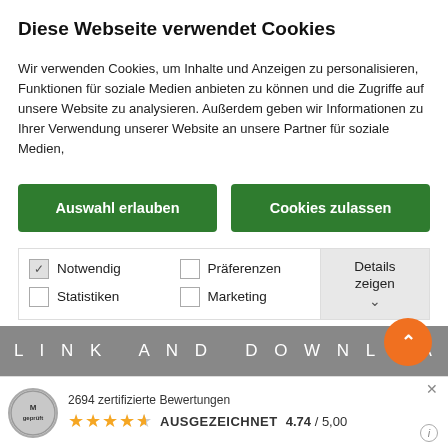Diese Webseite verwendet Cookies
Wir verwenden Cookies, um Inhalte und Anzeigen zu personalisieren, Funktionen für soziale Medien anbieten zu können und die Zugriffe auf unsere Website zu analysieren. Außerdem geben wir Informationen zu Ihrer Verwendung unserer Website an unsere Partner für soziale Medien,
[Figure (screenshot): Two green buttons labeled 'Auswahl erlauben' and 'Cookies zulassen']
[Figure (screenshot): Cookie preference panel with checkboxes for Notwendig, Statistiken, Präferenzen, Marketing and a Details zeigen button]
[Figure (screenshot): Gray band with text LINK AND DOWNLOAD MODU and orange circle arrow button]
[Figure (screenshot): Rating bar showing Meinungsmeister logo, 2694 zertifizierte Bewertungen, 4 and half stars, AUSGEZEICHNET 4.74/5.00]